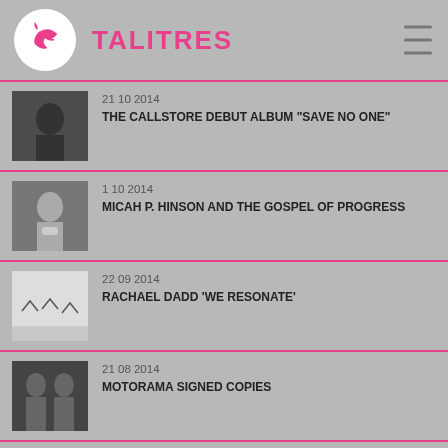TALITRES
21 10 2014 — THE CALLSTORE DEBUT ALBUM "SAVE NO ONE"
1 10 2014 — MICAH P. HINSON AND THE GOSPEL OF PROGRESS
22 09 2014 — RACHAEL DADD 'WE RESONATE'
21 08 2014 — MOTORAMA SIGNED COPIES
16 06 2014